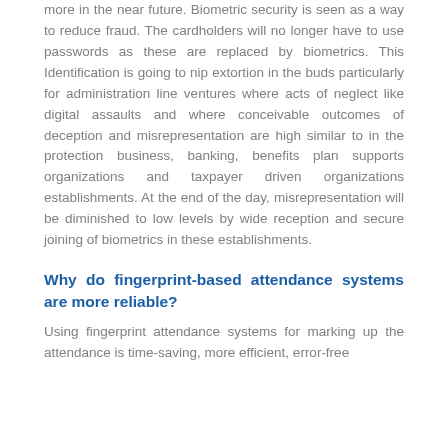more in the near future. Biometric security is seen as a way to reduce fraud. The cardholders will no longer have to use passwords as these are replaced by biometrics. This Identification is going to nip extortion in the buds particularly for administration line ventures where acts of neglect like digital assaults and where conceivable outcomes of deception and misrepresentation are high similar to in the protection business, banking, benefits plan supports organizations and taxpayer driven organizations establishments. At the end of the day, misrepresentation will be diminished to low levels by wide reception and secure joining of biometrics in these establishments.
Why do fingerprint-based attendance systems are more reliable?
Using fingerprint attendance systems for marking up the attendance is time-saving, more efficient, error-free